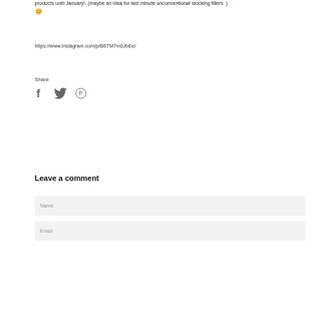products until January!  (maybe an idea for last minute unconventional stocking fillers  ) 😊
https://www.instagram.com/p/B6TM7m0JbEe/
Share
[Figure (other): Social share icons: Facebook (f), Twitter (bird), Pinterest (P)]
Leave a comment
Name
Email